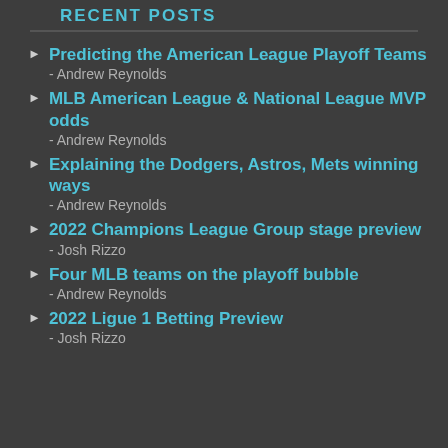RECENT POSTS
Predicting the American League Playoff Teams - Andrew Reynolds
MLB American League & National League MVP odds - Andrew Reynolds
Explaining the Dodgers, Astros, Mets winning ways - Andrew Reynolds
2022 Champions League Group stage preview - Josh Rizzo
Four MLB teams on the playoff bubble - Andrew Reynolds
2022 Ligue 1 Betting Preview - Josh Rizzo